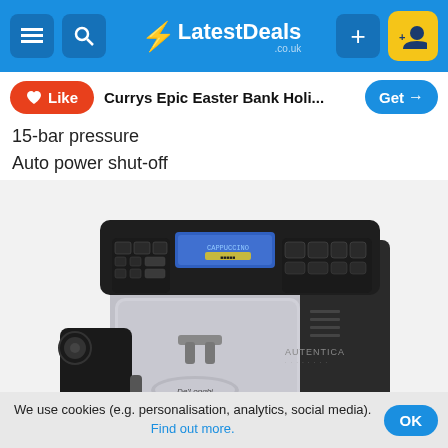LatestDeals.co.uk navigation bar
Like | Currys Epic Easter Bank Holi... | Get
15-bar pressure
Auto power shut-off
[Figure (photo): De'Longhi Autentica espresso coffee machine, silver and black, with control panel showing blue LCD display and various buttons, milk frother attachment on left side]
We use cookies (e.g. personalisation, analytics, social media). Find out more.